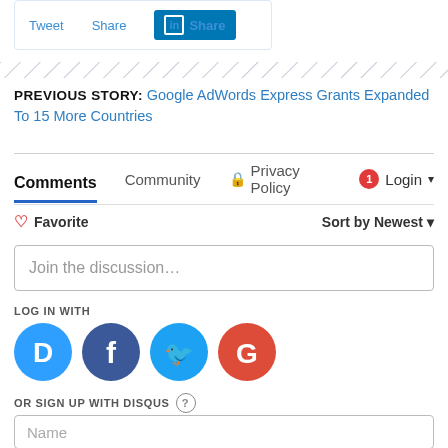[Figure (screenshot): Social share bar with Tweet, Share, and LinkedIn Share buttons]
PREVIOUS STORY: Google AdWords Express Grants Expanded To 15 More Countries
Comments  Community  Privacy Policy  Login
Favorite  Sort by Newest
Join the discussion…
LOG IN WITH
[Figure (infographic): Social login icons: Disqus (D), Facebook (F), Twitter (bird), Google (G)]
OR SIGN UP WITH DISQUS ?
Name